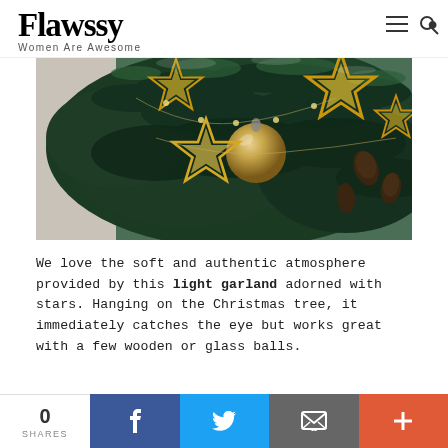Flawssy — Women Are Awesome
[Figure (photo): Close-up of a Christmas tree decorated with golden star-shaped lights and a gold ornament ball hanging among dark green pine branches.]
We love the soft and authentic atmosphere provided by this light garland adorned with stars. Hanging on the Christmas tree, it immediately catches the eye but works great with a few wooden or glass balls.
14. Bright tree branches as a
0 SHARES | Facebook | Twitter | Email | +